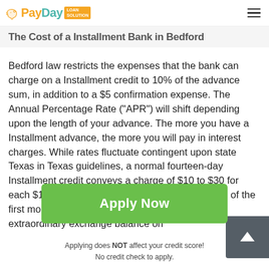PayDay LOAN Solution
The Cost of a Installment Bank in Bedford
Bedford law restricts the expenses that the bank can charge on a Installment credit to 10% of the advance sum, in addition to a $5 confirmation expense. The Annual Percentage Rate ("APR") will shift depending upon the length of your advance. The more you have a Installment advance, the more you will pay in interest charges. While rates fluctuate contingent upon state Texas in Texas guidelines, a normal fourteen-day Installment credit conveys a charge of $10 to $30 for each $100 acquired. Expenses can't surpass 10% of the first money advance. Fees can't surpass 8% extraordinary exchange balance on
Apply Now
Applying does NOT affect your credit score!
No credit check to apply.